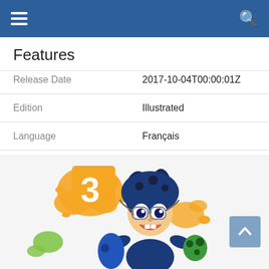Features
| Release Date | 2017-10-04T00:00:01Z |
| Edition | Illustrated |
| Language | Français |
| Number Of Pages | 160 |
| Publication Date | 2017-10-04T00:00:01Z |
| Format | Illustré |
[Figure (illustration): Splatoon-style anime character with goggles and paint splatter, with a stylized '3' logo in orange on top left]